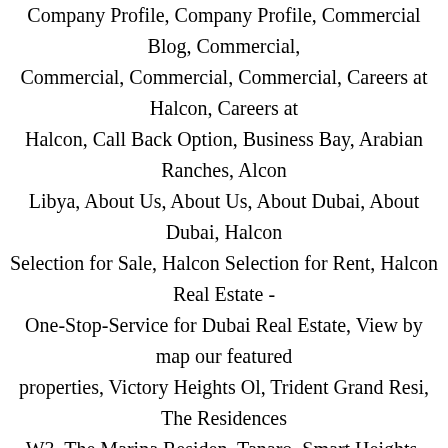Company Profile, Company Profile, Commercial Blog, Commercial, Commercial, Commercial, Commercial, Careers at Halcon, Careers at Halcon, Call Back Option, Business Bay, Arabian Ranches, Alcon Libya, About Us, About Us, About Dubai, About Dubai, Halcon Selection for Sale, Halcon Selection for Rent, Halcon Real Estate - One-Stop-Service for Dubai Real Estate, View by map our featured properties, Victory Heights Ol, Trident Grand Resi, The Residences W3, The Marina Residen, Tanaro, Smart Heights, Skyview Tower, Skyview Tower, Skyview Tower, Signature Villa, Sector P, Meadows 6, Masakin, Marina Pinnacle, Jumeirah Business, Green Community We, Golf View Residenc, Expertise in All areas of Dubai Properties, Emirates Financial, Emirates Financial, Dubai Marina Plaza, Citadel Tower, Citadel Tower, Churchill Executiv, Cayan Business Cen, Business Tower, Burj Khalifa, Burj Khalifa, Almas Tower, Al Sarood, Al Saaha, Al Reem 1, Al Nabat, Al Ghozlan 4, Al Fairooz, Open House Calendar,